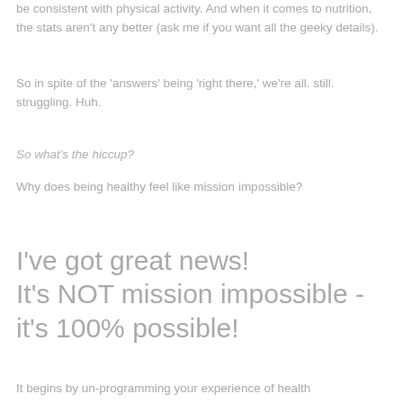be consistent with physical activity. And when it comes to nutrition, the stats aren't any better (ask me if you want all the geeky details).
So in spite of the 'answers' being 'right there,' we're all. still. struggling. Huh.
So what's the hiccup?
Why does being healthy feel like mission impossible?
I've got great news!
It's NOT mission impossible - it's 100% possible!
It begins by un-programming your experience of health